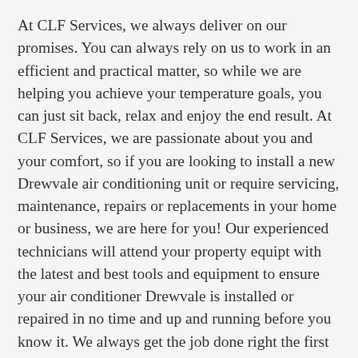At CLF Services, we always deliver on our promises. You can always rely on us to work in an efficient and practical matter, so while we are helping you achieve your temperature goals, you can just sit back, relax and enjoy the end result. At CLF Services, we are passionate about you and your comfort, so if you are looking to install a new Drewvale air conditioning unit or require servicing, maintenance, repairs or replacements in your home or business, we are here for you! Our experienced technicians will attend your property equipt with the latest and best tools and equipment to ensure your air conditioner Drewvale is installed or repaired in no time and up and running before you know it. We always get the job done right the first time, so as soon as we have completed our work, you will have the peace of mind and confidence that your air conditioning will be operating at optimal condition. More times than not, we often do not think about how much we rely on our air